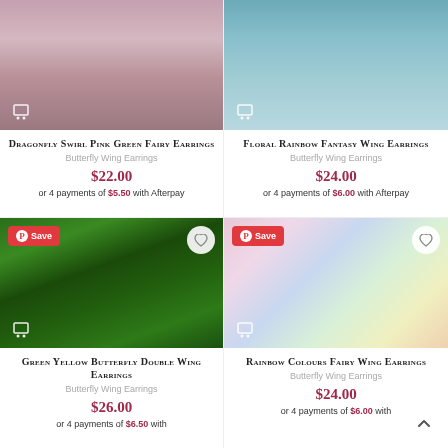[Figure (photo): Product photo of Dragonfly Swirl Pink Green Fairy Earrings (cropped top portion visible)]
Dragonfly Swirl Pink Green Fairy Earrings
Butterfly Wing Earrings
$22.00
or 4 payments of $5.50 with Afterpay
[Figure (photo): Product photo of Floral Rainbow Fantasy Wing Earrings (cropped top portion visible)]
Floral Rainbow Fantasy Wing Earrings
Butterfly Wing Earrings
$24.00
or 4 payments of $6.00 with Afterpay
[Figure (photo): Green Yellow Butterfly Double Wing Earrings product photo with Save Pinterest button and heart icon]
Green Yellow Butterfly Double Wing Earrings
Butterfly Wing Earrings
$26.00
or 4 payments of $6.50 with
[Figure (photo): Rainbow Colours Fairy Wing Earrings product photo with Save Pinterest button and heart icon]
Rainbow Colours Fairy Wing Earrings
Butterfly Wing Earrings
$24.00
or 4 payments of $6.00 with